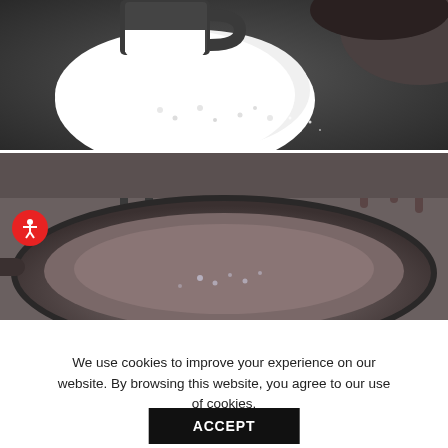[Figure (photo): Close-up photo of white granulated sugar being poured from a spoon or cup into a dark non-stick pan/skillet]
[Figure (photo): Photo of an empty dark non-stick frying pan on a gas stove burner, with small droplets or melted sugar visible at the bottom of the pan]
We use cookies to improve your experience on our website. By browsing this website, you agree to our use of cookies.
ACCEPT